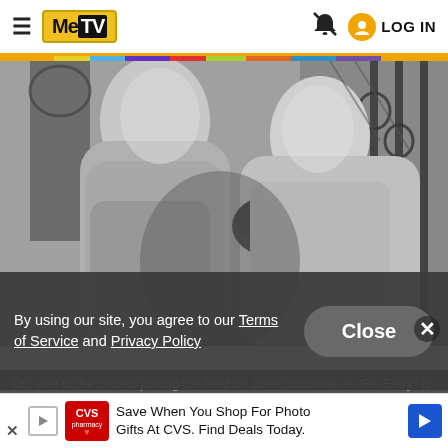[Figure (screenshot): MeTV website header with hamburger menu, MeTV logo, notification bell icon, and LOG IN button]
[Figure (photo): Black and white photograph of two men, one grabbing the collar/back of the other near an ornate iron fence]
By using our site, you agree to our Terms of Service and Privacy Policy
Close
Oh, one of the crooks putting the heat on John Goodman in "Re-Entry" is David Johansen, lead
[Figure (screenshot): CVS advertisement: Save When You Shop For Photo Gifts At CVS. Find Deals Today.]